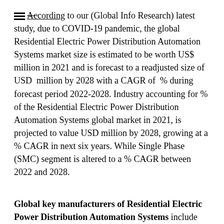According to our (Global Info Research) latest study, due to COVID-19 pandemic, the global Residential Electric Power Distribution Automation Systems market size is estimated to be worth US$  million in 2021 and is forecast to a readjusted size of USD  million by 2028 with a CAGR of  % during forecast period 2022-2028. Industry accounting for % of the Residential Electric Power Distribution Automation Systems global market in 2021, is projected to value USD million by 2028, growing at a % CAGR in next six years. While Single Phase (SMC) segment is altered to a % CAGR between 2022 and 2028.
Global key manufacturers of Residential Electric Power Distribution Automation Systems include Hitachi (ABB), Siemens, GE, Eaton, and NARI